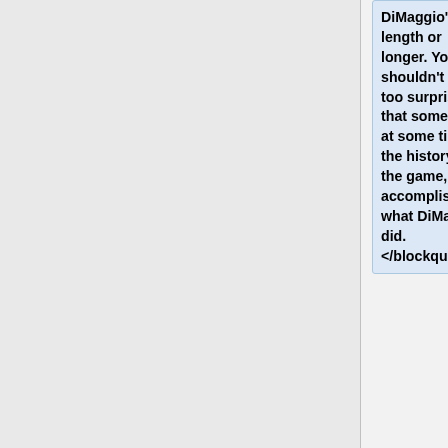DiMaggio's length or longer. You shouldn't be too surprised that someone, at some time in the history of the game, accomplished what DiMaggio did. </blockquote>
+
===Additional reading===
+
[http://blogs.wsj.com/numbersguy/in-defense-